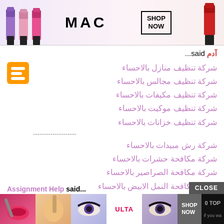[Figure (photo): MAC Cosmetics advertisement banner with lipsticks, MAC logo, and SHOP NOW button]
آدم said...
شركة تنظيف منازل بالاحساء
شركة تنظيف مجالس بالاحساء
شركة تنظيف مكيفات بالاحساء
شركة تنظيف موكيت بالاحساء
شركة تنظيف خزانات بالاحساء
--------------------
شركة رش مبيدات بالاحساء
شركة مكافحة حشرات بالاحساء
شركة مكافحة الصراصير بالاحساء
شركة مكافحة النمل الابيض بالاحساء
October 1, 2021 at 5:13 AM
Assignment Help said...
[Figure (photo): Bottom advertisement banner with beauty/makeup product images, ULTA logo, SHOP NOW and 0 TOP buttons]